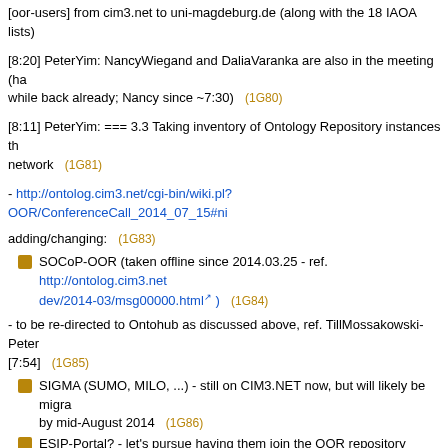[oor-users] from cim3.net to uni-magdeburg.de (along with the 18 IAOA lists)
[8:20] PeterYim: NancyWiegand and DaliaVaranka are also in the meeting (ha... while back already; Nancy since ~7:30) (1G80)
[8:11] PeterYim: === 3.3 Taking inventory of Ontology Repository instances th... network (1G81)
- http://ontolog.cim3.net/cgi-bin/wiki.pl?OOR/ConferenceCall_2014_07_15#ni...
adding/changing: (1G83)
SOCoP-OOR (taken offline since 2014.03.25 - ref. http://ontolog.cim3.net... dev/2014-03/msg00000.html ) (1G84)
- to be re-directed to Ontohub as discussed above, ref. TillMossakowski-Peter... [7:54] (1G85)
SIGMA (SUMO, MILO, ...) - still on CIM3.NET now, but will likely be migra... by mid-August 2014 (1G86)
ESIP-Portal? - let's pursue having them join the OOR repository network... NancyWiegand, LinePouchard, NancyWiegand, GaryBergCross] (1G87)
removing: (4E51) (1G88)
ORNL-DAAC? ... being removed because this is no longer "open" (or ope... accessible) (1G89)
OOR-dev ... Peter: will be taken offline after this meeting (1G90)
OOR-test ... Peter: will be taken offline after this meeting (1G91)